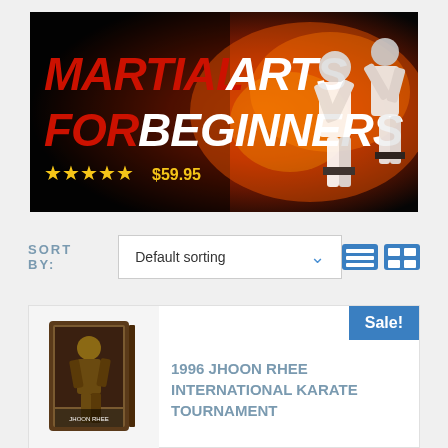[Figure (illustration): Martial Arts for Beginners banner ad showing two karate practitioners in white gi with fire background. Text reads MARTIAL ARTS FOR BEGINNERS with 5 gold stars and $59.95 price.]
SORT BY: Default sorting
[Figure (other): View toggle icons - list view and grid view buttons in blue]
Sale!
[Figure (photo): DVD product image for 1996 Jhoon Rhee International Karate Tournament]
1996 JHOON RHEE INTERNATIONAL KARATE TOURNAMENT